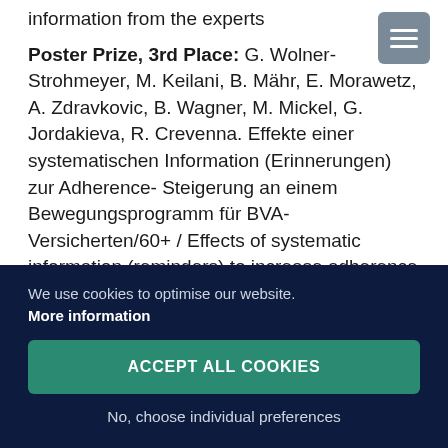information from the experts
Poster Prize, 3rd Place: G. Wolner-Strohmeyer, M. Keilani, B. Mähr, E. Morawetz, A. Zdravkovic, B. Wagner, M. Mickel, G. Jordakieva, R. Crevenna. Effekte einer systematischen Information (Erinnerungen) zur Adherence- Steigerung an einem Bewegungsprogramm für BVA-Versicherten/60+ / Effects of systematic information (reminders) to increase adherence to an exercise programme for people of 60+ insured by BVA
We use cookies to optimise our website. More information
ACCEPT ALL COOKIES
No, choose individual preferences